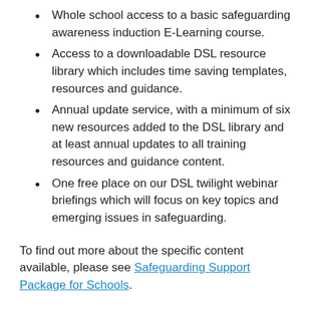Whole school access to a basic safeguarding awareness induction E-Learning course.
Access to a downloadable DSL resource library which includes time saving templates, resources and guidance.
Annual update service, with a minimum of six new resources added to the DSL library and at least annual updates to all training resources and guidance content.
One free place on our DSL twilight webinar briefings which will focus on key topics and emerging issues in safeguarding.
To find out more about the specific content available, please see Safeguarding Support Package for Schools.